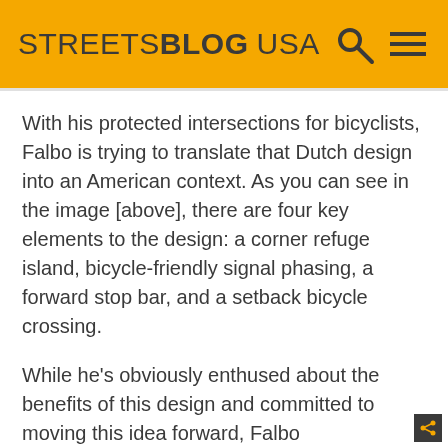STREETSBLOG USA
With his protected intersections for bicyclists, Falbo is trying to translate that Dutch design into an American context. As you can see in the image [above], there are four key elements to the design: a corner refuge island, bicycle-friendly signal phasing, a forward stop bar, and a setback bicycle crossing.
While he's obviously enthused about the benefits of this design and committed to moving this idea forward, Falbo acknowledges there are some major challenges to overcome like large truck movements, auto capacity impacts, and how to make the design work well for people who walk and/or use a mobility device.